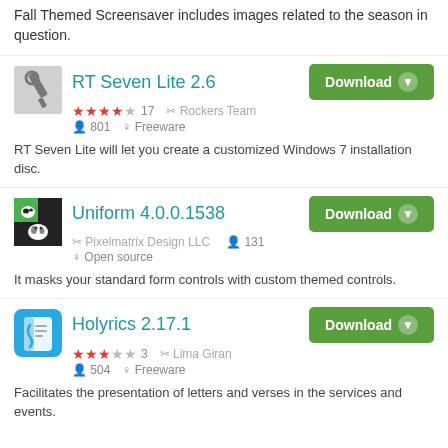Fall Themed Screensaver includes images related to the season in question.
RT Seven Lite 2.6
★★★★☆ 17  ✂ Rockers Team  👤 801  🎁 Freeware
RT Seven Lite will let you create a customized Windows 7 installation disc.
Uniform 4.0.0.1538
✂ Pixelmatrix Design LLC  👤 131  🎁 Open source
It masks your standard form controls with custom themed controls.
Holyrics 2.17.1
★★★☆☆ 3  ✂ Lima Giran  👤 504  🎁 Freeware
Facilitates the presentation of letters and verses in the services and events.